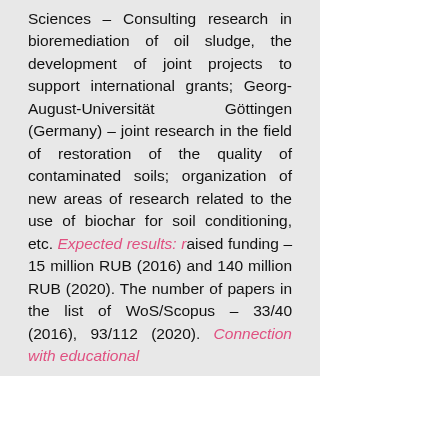Sciences – Consulting research in bioremediation of oil sludge, the development of joint projects to support international grants; Georg-August-Universität Göttingen (Germany) – joint research in the field of restoration of the quality of contaminated soils; organization of new areas of research related to the use of biochar for soil conditioning, etc. Expected results: raised funding – 15 million RUB (2016) and 140 million RUB (2020). The number of papers in the list of WoS/Scopus – 33/40 (2016), 93/112 (2020). Connection with educational